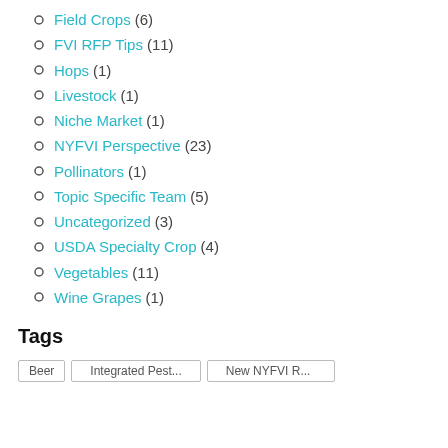Field Crops (6)
FVI RFP Tips (11)
Hops (1)
Livestock (1)
Niche Market (1)
NYFVI Perspective (23)
Pollinators (1)
Topic Specific Team (5)
Uncategorized (3)
USDA Specialty Crop (4)
Vegetables (11)
Wine Grapes (1)
Tags